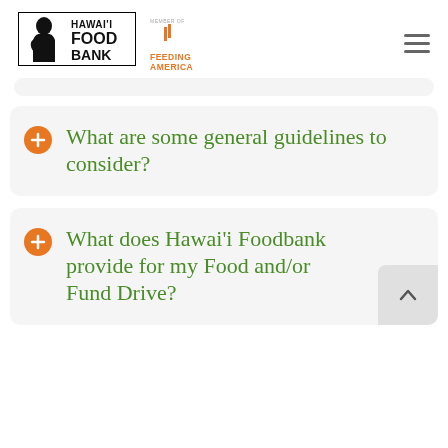[Figure (logo): Hawaii Food Bank logo with woman figure and bold text, plus Feeding America partner logo]
What are some general guidelines to consider?
What does Hawai'i Foodbank provide for my Food and/or Fund Drive?